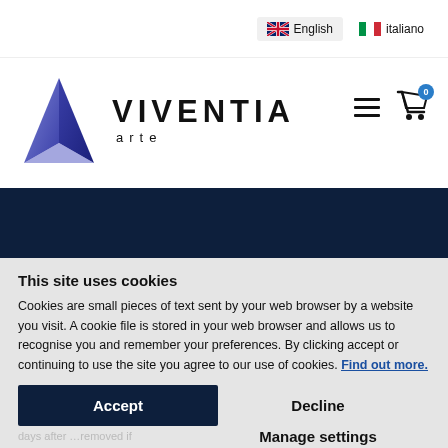[Figure (logo): Viventia Arte logo: blue 3D triangle/pyramid shape on left, bold text VIVENTIA with smaller 'arte' below on right]
English  italiano
[Figure (screenshot): Dark navy blue horizontal banner bar]
This site uses cookies
Cookies are small pieces of text sent by your web browser by a website you visit. A cookie file is stored in your web browser and allows us to recognise you and remember your preferences. By clicking accept or continuing to use the site you agree to our use of cookies. Find out more.
Accept
Decline
Manage settings